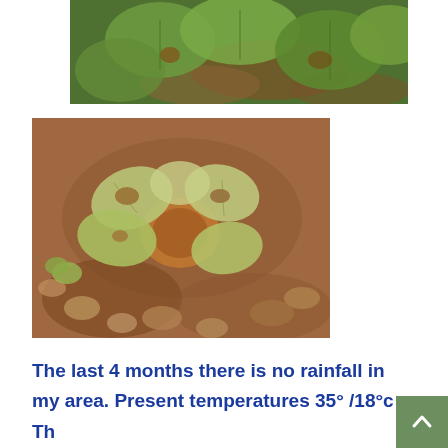[Figure (photo): Close-up photograph of green leaves of a plant (likely a cucurbit/melon) on brown dry soil, viewed from above, showing wilting or stressed foliage.]
[Figure (photo): Photograph of a stressed seedling with pale yellow-green leaves showing disease or drought damage, growing in rocky, dry reddish-brown soil.]
The last 4 months there is no rainfall in my area. Present temperatures 35° /18°c Th